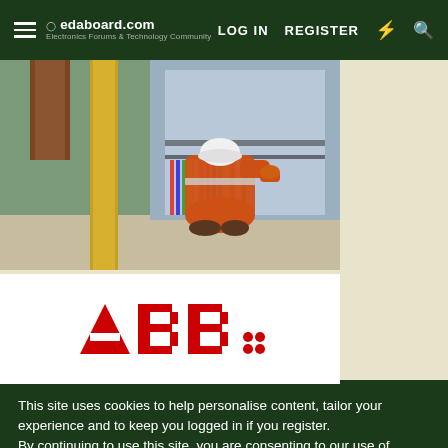edaboard.com — LOG IN   REGISTER
[Figure (photo): Electrician in orange safety coveralls and white hard hat working on an industrial electrical panel with cable trays and wiring]
[Figure (logo): ABB company logo in red]
This site uses cookies to help personalise content, tailor your experience and to keep you logged in if you register.
By continuing to use this site, you are consenting to our use of cookies.
✓ Accept   Learn more...